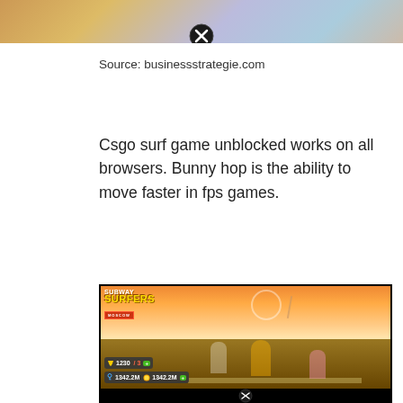[Figure (screenshot): Top portion of a Subway Surfers game screenshot with a close button overlay]
Source: businessstrategie.com
Csgo surf game unblocked works on all browsers. Bunny hop is the ability to move faster in fps games.
[Figure (screenshot): Subway Surfers Moscow game screenshot showing characters running on train tracks with game HUD displaying 1230 trophies, 3 lives, 1342.2M keys, and 1342.2M coins. Close button at bottom.]